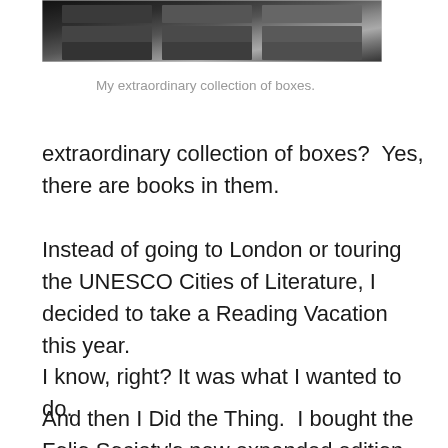[Figure (photo): Partial view of stacked boxes or drawers, dark/monochrome photograph cropped at top]
My extraordinary collection of boxes.
extraordinary collection of boxes?  Yes, there are books in them.
Instead of going to London or touring the UNESCO Cities of Literature, I decided to take a Reading Vacation this year.
I know, right? It was what I wanted to do.
And then I Did the Thing.  I bought the Folio Society's new expanded edition of Trollope's The Duke's